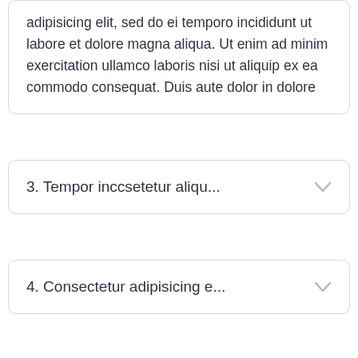adipisicing elit, sed do ei temporo incididunt ut labore et dolore magna aliqua. Ut enim ad minim exercitation ullamco laboris nisi ut aliquip ex ea commodo consequat. Duis aute dolor in dolore
3. Tempor inccsetetur aliqu...
4. Consectetur adipisicing e...